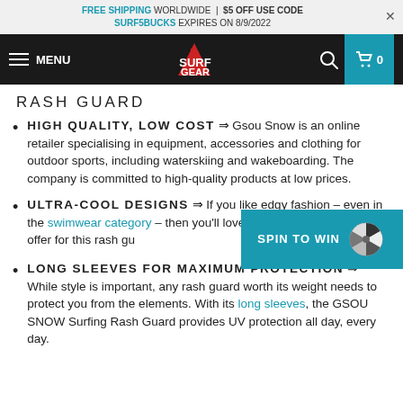FREE SHIPPING WORLDWIDE | $5 OFF USE CODE SURF5BUCKS EXPIRES ON 8/9/2022
MENU | SURF GEAR | 0
RASH GUARD
HIGH QUALITY, LOW COST ⇒ Gsou Snow is an online retailer specialising in equipment, accessories and clothing for outdoor sports, including waterskiing and wakeboarding. The company is committed to high-quality products at low prices.
ULTRA-COOL DESIGNS ⇒ If you like edgy fashion – even in the swimwear category – then you'll love the ultra-cool designs on offer for this rash gu…
[Figure (other): SPIN TO WIN promotional button overlay with spinning wheel graphic]
LONG SLEEVES FOR MAXIMUM PROTECTION ⇒ While style is important, any rash guard worth its weight needs to protect you from the elements. With its long sleeves, the GSOU SNOW Surfing Rash Guard provides UV protection all day, every day.